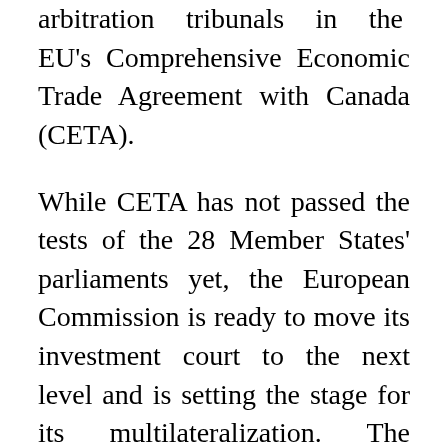arbitration tribunals in the EU's Comprehensive Economic Trade Agreement with Canada (CETA).
While CETA has not passed the tests of the 28 Member States' parliaments yet, the European Commission is ready to move its investment court to the next level and is setting the stage for its multilateralization. The introduction of a Multilateral Investment Court (MIC) was the subject of an informal ministerial meeting hosted by the EU and Canada at the World Economic Forum in Davos earlier this year. The EU Commission has launched a public consultation to gather opinions from